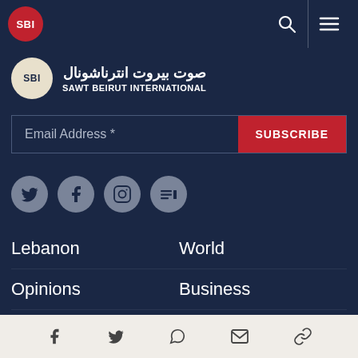[Figure (logo): SBI red circle logo in top navigation bar with search and hamburger menu icons]
[Figure (logo): SBI Sawt Beirut International logo with Arabic text صوت بيروت انترناشونال and English subtitle SAWT BEIRUT INTERNATIONAL]
Email Address *
SUBSCRIBE
[Figure (infographic): Social media icons: Twitter, Facebook, Instagram, Google News (circular grey buttons)]
Lebanon
World
Opinions
Business
Entertainment
Watch
[Figure (infographic): Bottom share bar with Facebook, Twitter, WhatsApp, Email, and link icons on light beige background]